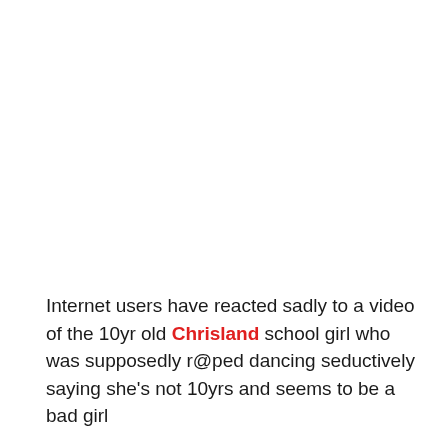Internet users have reacted sadly to a video of the 10yr old Chrisland school girl who was supposedly r@ped dancing seductively saying she's not 10yrs and seems to be a bad girl